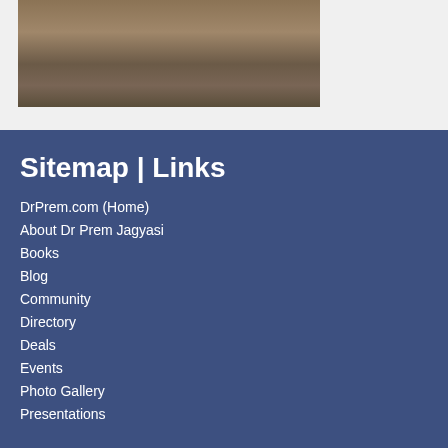[Figure (photo): Partial photo of a person visible at the top of the page, cropped, showing shoulders and lower face area against a neutral background.]
Sitemap | Links
DrPrem.com (Home)
About Dr Prem Jagyasi
Books
Blog
Community
Directory
Deals
Events
Photo Gallery
Presentations